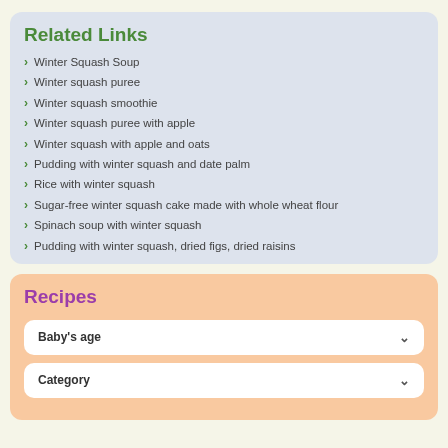Related Links
Winter Squash Soup
Winter squash puree
Winter squash smoothie
Winter squash puree with apple
Winter squash with apple and oats
Pudding with winter squash and date palm
Rice with winter squash
Sugar-free winter squash cake made with whole wheat flour
Spinach soup with winter squash
Pudding with winter squash, dried figs, dried raisins
Recipes
Baby's age
Category